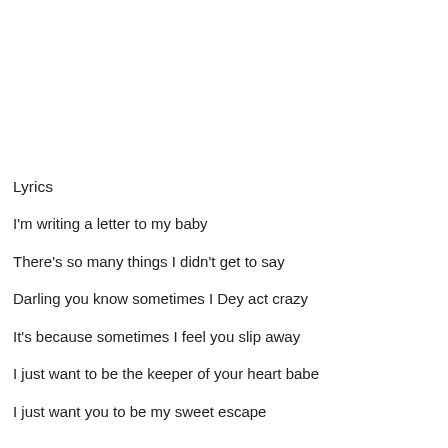Lyrics
I'm writing a letter to my baby
There's so many things I didn't get to say
Darling you know sometimes I Dey act crazy
It's because sometimes I feel you slip away
I just want to be the keeper of your heart babe
I just want you to be my sweet escape